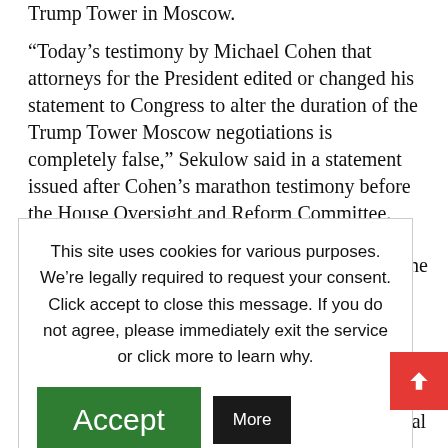Trump Tower in Moscow.
“Today’s testimony by Michael Cohen that attorneys for the President edited or changed his statement to Congress to alter the duration of the Trump Tower Moscow negotiations is completely false,” Sekulow said in a statement issued after Cohen’s marathon testimony before the House Oversight and Reform Committee.
This site uses cookies for various purposes. We’re legally required to request your consent. Click accept to close this message. If you do not agree, please immediately exit the service or click more to learn why.
…testimony he …ommittees …oscow during the …ongressional … to build a Trump …itted he …n June 2016.
…irected Cohen to
… to Congress …